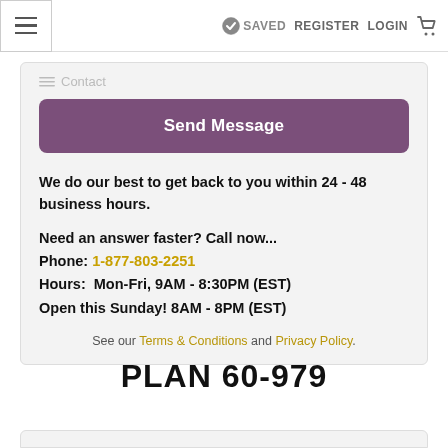≡  ✓ SAVED  REGISTER  LOGIN  🛒
[Figure (screenshot): Send Message button - purple rounded rectangle button with white bold text]
We do our best to get back to you within 24 - 48 business hours.
Need an answer faster? Call now...
Phone: 1-877-803-2251
Hours: Mon-Fri, 9AM - 8:30PM (EST)
Open this Sunday! 8AM - 8PM (EST)
See our Terms & Conditions and Privacy Policy.
PLAN 60-979